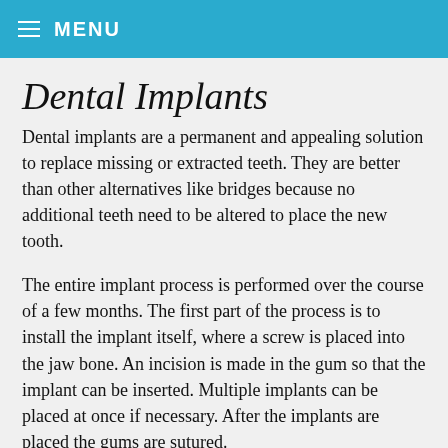MENU
Dental Implants
Dental implants are a permanent and appealing solution to replace missing or extracted teeth. They are better than other alternatives like bridges because no additional teeth need to be altered to place the new tooth.
The entire implant process is performed over the course of a few months. The first part of the process is to install the implant itself, where a screw is placed into the jaw bone. An incision is made in the gum so that the implant can be inserted. Multiple implants can be placed at once if necessary. After the implants are placed the gums are sutured.
The implant must be allowed about 3-6 months to heal, and during this time the jaw bone will form